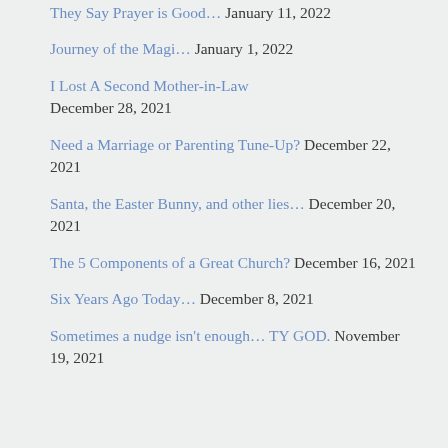They Say Prayer is Good… January 11, 2022
Journey of the Magi… January 1, 2022
I Lost A Second Mother-in-Law December 28, 2021
Need a Marriage or Parenting Tune-Up? December 22, 2021
Santa, the Easter Bunny, and other lies… December 20, 2021
The 5 Components of a Great Church? December 16, 2021
Six Years Ago Today… December 8, 2021
Sometimes a nudge isn't enough… TY GOD. November 19, 2021